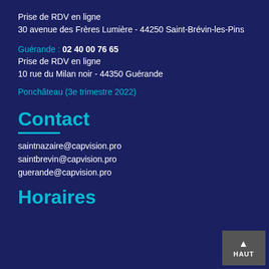Prise de RDV en ligne
30 avenue des Frères Lumière - 44250 Saint-Brévin-les-Pins
Guérande : 02 40 00 76 65
Prise de RDV en ligne
10 rue du Milan noir - 44350 Guérande
Ponchâteau (3e trimestre 2022)
Contact
saintnazaire@capvision.pro
saintbrevin@capvision.pro
guerande@capvision.pro
Horaires